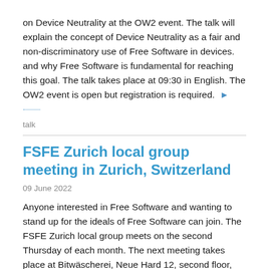on Device Neutrality at the OW2 event. The talk will explain the concept of Device Neutrality as a fair and non-discriminatory use of Free Software in devices. and why Free Software is fundamental for reaching this goal. The talk takes place at 09:30 in English. The OW2 event is open but registration is required. ▶ .........
talk
FSFE Zurich local group meeting in Zurich, Switzerland
09 June 2022
Anyone interested in Free Software and wanting to stand up for the ideals of Free Software can join. The FSFE Zurich local group meets on the second Thursday of each month. The next meeting takes place at Bitwäscherei, Neue Hard 12, second floor, from 18:00 to 21:00. The meeting is in German. The group will discuss the Public Communication initiative. You do not need to register, and the participation is at no cost. ▶